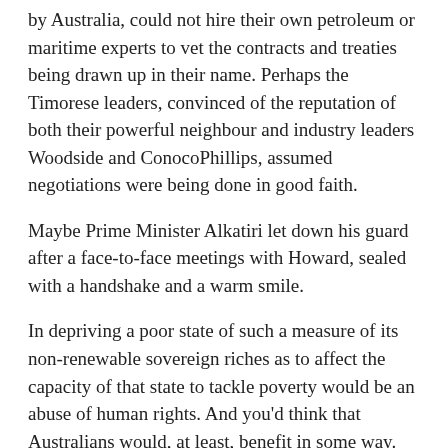by Australia, could not hire their own petroleum or maritime experts to vet the contracts and treaties being drawn up in their name. Perhaps the Timorese leaders, convinced of the reputation of both their powerful neighbour and industry leaders Woodside and ConocoPhillips, assumed negotiations were being done in good faith.
Maybe Prime Minister Alkatiri let down his guard after a face-to-face meetings with Howard, sealed with a handshake and a warm smile.
In depriving a poor state of such a measure of its non-renewable sovereign riches as to affect the capacity of that state to tackle poverty would be an abuse of human rights. And you'd think that Australians would, at least, benefit in some way. Not so.